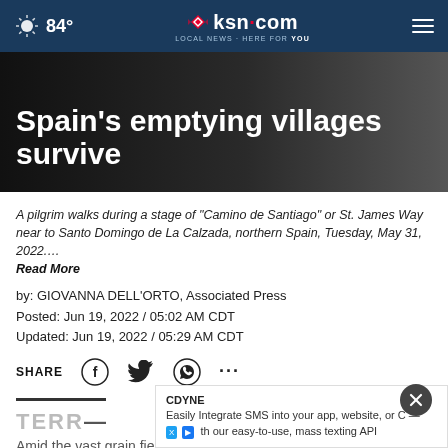84° ksn.com LOCAL NEWS · HERE FOR YOU
Spain's emptying villages survive
A pilgrim walks during a stage of "Camino de Santiago" or St. James Way near to Santo Domingo de La Calzada, northern Spain, Tuesday, May 31, 2022….
Read More
by: GIOVANNA DELL'ORTO, Associated Press
Posted: Jun 19, 2022 / 05:02 AM CDT
Updated: Jun 19, 2022 / 05:29 AM CDT
SHARE
TERR—
Amid the vast grain fields of Spain, a medieval church